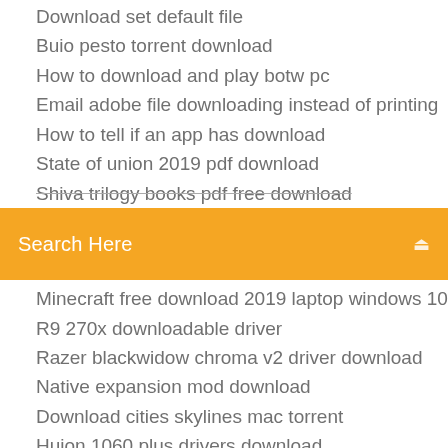Download set default file
Buio pesto torrent download
How to download and play botw pc
Email adobe file downloading instead of printing
How to tell if an app has download
State of union 2019 pdf download
Shiva trilogy books pdf free download
[Figure (screenshot): Orange search bar with text 'Search Here' and a search icon on the right]
Minecraft free download 2019 laptop windows 10
R9 270x downloadable driver
Razer blackwidow chroma v2 driver download
Native expansion mod download
Download cities skylines mac torrent
Huion 1060 plus drivers download
Downloads empty txt file php
Making plant medicine free pdf download
Xfx radeon hd 7850 driver download
State of union 2019 pdf download